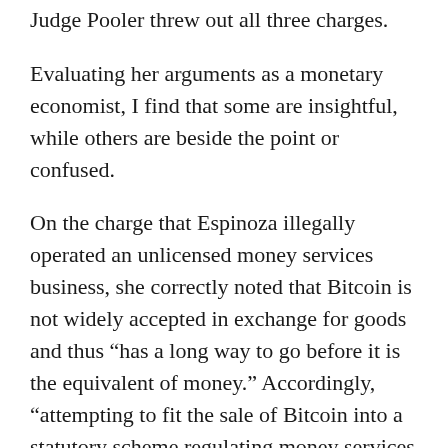Judge Pooler threw out all three charges.
Evaluating her arguments as a monetary economist, I find that some are insightful, while others are beside the point or confused.
On the charge that Espinoza illegally operated an unlicensed money services business, she correctly noted that Bitcoin is not widely accepted in exchange for goods and thus “has a long way to go before it is the equivalent of money.” Accordingly, “attempting to fit the sale of Bitcoin into a statutory scheme regulating money services businesses is like fitting a square peg in a round hole.”